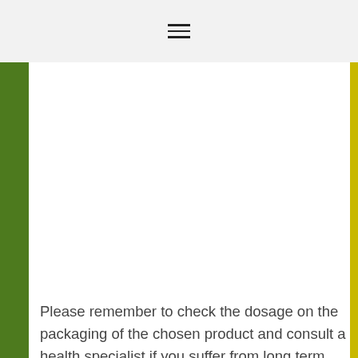≡
[Figure (photo): Webpage screenshot showing a health/wellness product image with green strip on left and yellow-green strip on right, mostly white center]
Please remember to check the dosage on the packaging of the chosen product and consult a health specialist if you suffer from long term
We use cookies to ensure that we give you the best experience on website. If you continue to use this site we will assume that you
[Figure (infographic): Advertisement banner: Virginia Tire & Auto logo, text 'Save Up to $100 on Brakes & Rotors at Virginia Tire & Auto', navigation arrow icon]